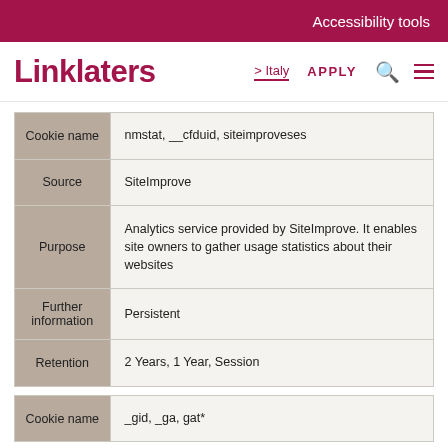Accessibility tools
Linklaters
| Field | Value |
| --- | --- |
| Cookie name | nmstat, __cfduid, siteimproveses |
| Source | SiteImprove |
| Purpose | Analytics service provided by SiteImprove. It enables site owners to gather usage statistics about their websites |
| Further information | Persistent |
| Retention | 2 Years, 1 Year, Session |
| Field | Value |
| --- | --- |
| Cookie name | _gid, _ga, gat* |